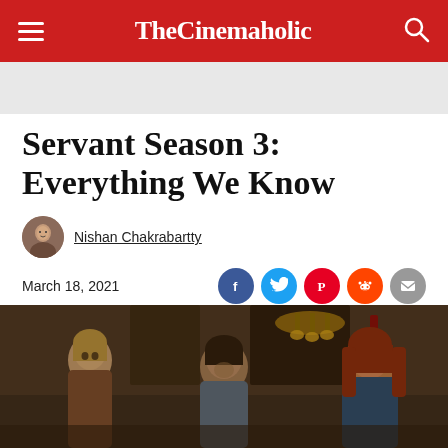TheCinemaholic
Servant Season 3: Everything We Know
Nishan Chakrabartty
March 18, 2021
[Figure (photo): Three actors from Servant TV show sitting around a table in a dimly lit room with a chandelier in the background]